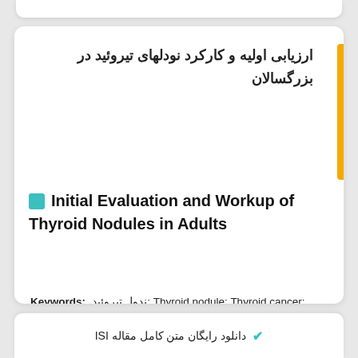ارزیابی اولیه و کارکرد نودلهای تیروئید در بزرگسالان
Initial Evaluation and Workup of Thyroid Nodules in Adults
Keywords: ندول تیروئید; Thyroid nodule; Thyroid cancer; Thyroid ultrasound; Hypoechoic; Microcalcifications;
✔ دانلود رایگان متن کامل مقاله ISI